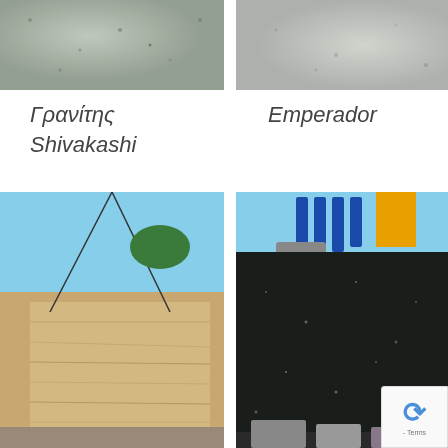[Figure (photo): Top-left photo: close-up of light-colored stone/granite surface with some speckling]
[Figure (photo): Top-right photo: close-up of light grey stone/marble surface]
Γρανίτης Shivakashi
Emperador
[Figure (photo): Bottom-left photo: large slab of beige/golden travertine or granite being lifted by crane cables against blue sky]
[Figure (photo): Bottom-right photo: large slab of dark black/dark green granite with blue metal equipment visible at top, grey blocks at bottom]